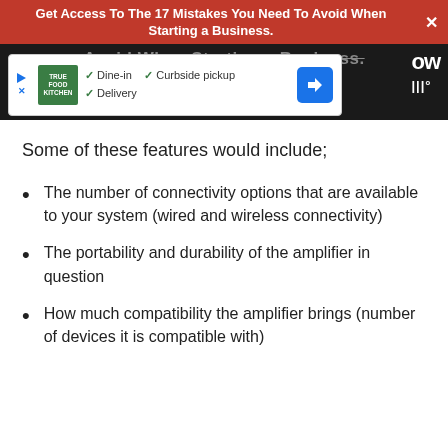Get Access To The 17 Mistakes You Need To Avoid When Starting a Business.
[Figure (screenshot): Dark header area with partially visible text and a True Food Kitchen ad overlay showing Dine-in, Curbside pickup, and Delivery options with a blue navigation arrow icon]
Some of these features would include;
The number of connectivity options that are available to your system (wired and wireless connectivity)
The portability and durability of the amplifier in question
How much compatibility the amplifier brings (number of devices it is compatible with)